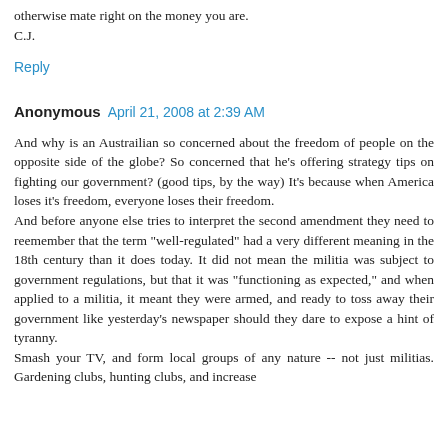otherwise mate right on the money you are.
C.J.
Reply
Anonymous  April 21, 2008 at 2:39 AM
And why is an Austrailian so concerned about the freedom of people on the opposite side of the globe? So concerned that he's offering strategy tips on fighting our government? (good tips, by the way) It's because when America loses it's freedom, everyone loses their freedom.
And before anyone else tries to interpret the second amendment they need to reemember that the term "well-regulated" had a very different meaning in the 18th century than it does today. It did not mean the militia was subject to government regulations, but that it was "functioning as expected," and when applied to a militia, it meant they were armed, and ready to toss away their government like yesterday's newspaper should they dare to expose a hint of tyranny.
Smash your TV, and form local groups of any nature -- not just militias. Gardening clubs, hunting clubs, and increase